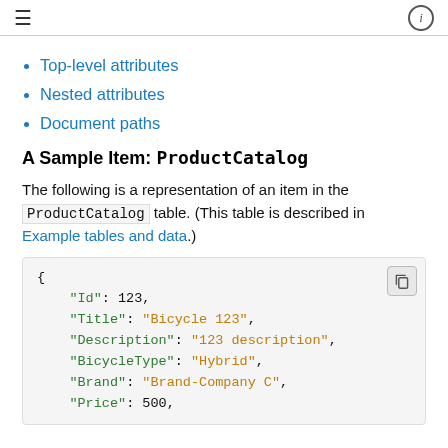≡  ⓘ
Top-level attributes
Nested attributes
Document paths
A Sample Item: ProductCatalog
The following is a representation of an item in the ProductCatalog table. (This table is described in Example tables and data.)
{
    "Id": 123,
    "Title": "Bicycle 123",
    "Description": "123 description",
    "BicycleType": "Hybrid",
    "Brand": "Brand-Company C",
    "Price": 500,